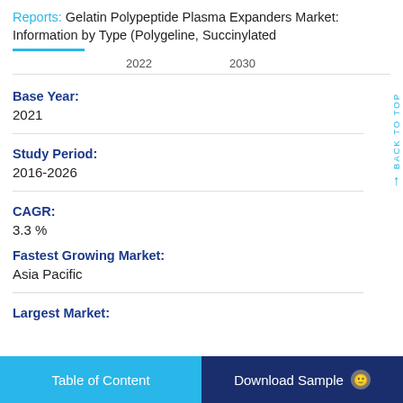Reports: Gelatin Polypeptide Plasma Expanders Market: Information by Type (Polygeline, Succinylated
2022   2030
Base Year:
2021
Study Period:
2016-2026
CAGR:
3.3 %
Fastest Growing Market:
Asia Pacific
Largest Market:
Table of Content
Download Sample